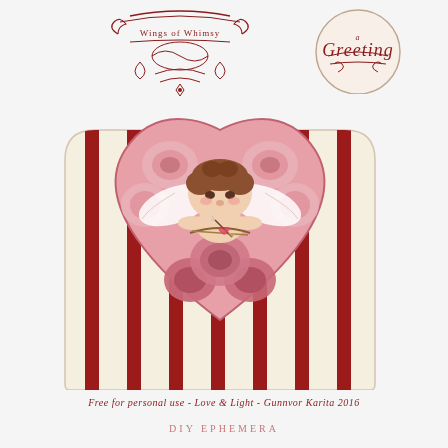[Figure (illustration): Wings of Whimsy decorative logo with flourishes and ornamental design in dark red/crimson]
[Figure (illustration): Circular greeting badge with 'Greeting' text and decorative scrollwork in red on cream background]
[Figure (illustration): Vintage Valentine ephemera: an envelope with red and cream vertical stripes, topped with a large heart made of pink roses, and a cherub/cupid with wings holding a bow, rendered in classic Victorian illustration style]
Free for personal use - Love & Light - Gunnvor Karita 2016
DIY EPHEMERA